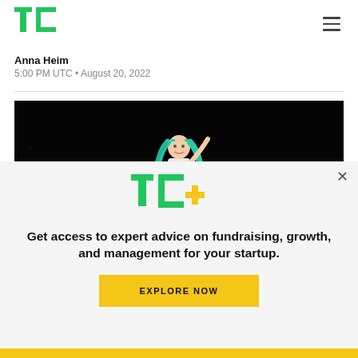TechCrunch logo and navigation menu
Anna Heim
5:00 PM UTC • August 20, 2022
[Figure (photo): A 3D animated virtual idol character (Hatsune Miku style) performing on a dark stage with green lighting effects. The character has long teal/green hair, wearing a white outfit, posing on a black stage platform.]
Get access to expert advice on fundraising, growth, and management for your startup.
EXPLORE NOW